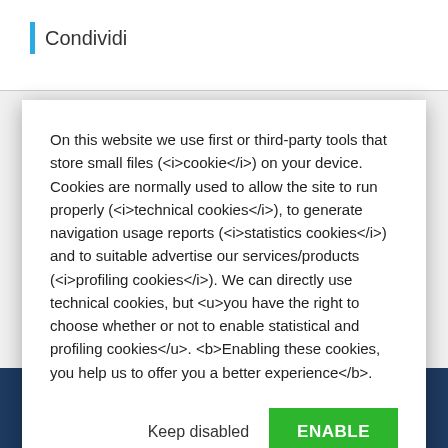Condividi
On this website we use first or third-party tools that store small files (<i>cookie</i>) on your device. Cookies are normally used to allow the site to run properly (<i>technical cookies</i>), to generate navigation usage reports (<i>statistics cookies</i>) and to suitable advertise our services/products (<i>profiling cookies</i>). We can directly use technical cookies, but <u>you have the right to choose whether or not to enable statistical and profiling cookies</u>. <b>Enabling these cookies, you help us to offer you a better experience</b>.
Keep disabled
ENABLE